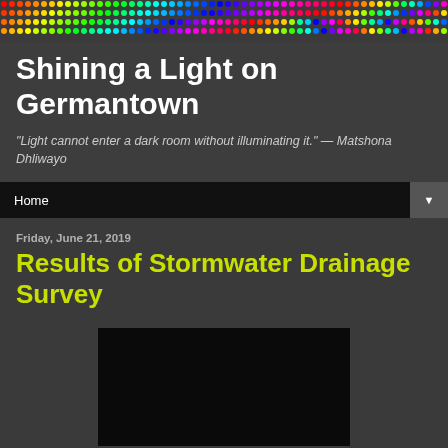[Figure (illustration): Rainbow colored dot pattern header banner spanning full width]
Shining a Light on Germantown
"Light cannot enter a dark room without illuminating it." — Matshona Dhliwayo
Home
Friday, June 21, 2019
Results of Stormwater Drainage Survey
[Figure (photo): Black/dark image placeholder at bottom of page]